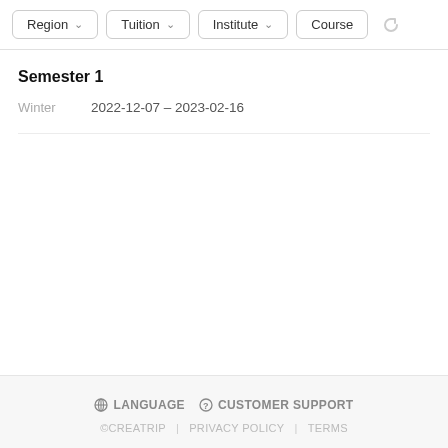Region ∨   Tuition ∨   Institute ∨   Course
Semester 1
Winter   2022-12-07 – 2023-02-16
⊕ LANGUAGE   ⓘ CUSTOMER SUPPORT   ©CREATRIP | PRIVACY POLICY | TERMS